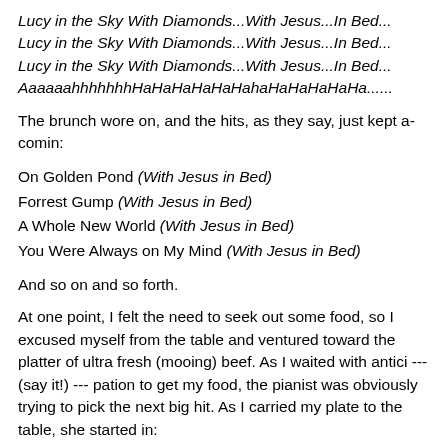Lucy in the Sky With Diamonds...With Jesus...In Bed...
Lucy in the Sky With Diamonds...With Jesus...In Bed...
Lucy in the Sky With Diamonds...With Jesus...In Bed...
AaaaaahhhhhhhHaHaHaHaHaHahaHaHaHaHaHa......
The brunch wore on, and the hits, as they say, just kept a-comin:
On Golden Pond (With Jesus in Bed)
Forrest Gump (With Jesus in Bed)
A Whole New World (With Jesus in Bed)
You Were Always on My Mind (With Jesus in Bed)
And so on and so forth.
At one point, I felt the need to seek out some food, so I excused myself from the table and ventured toward the platter of ultra fresh (mooing) beef. As I waited with antici --- (say it!) --- pation to get my food, the pianist was obviously trying to pick the next big hit. As I carried my plate to the table, she started in: